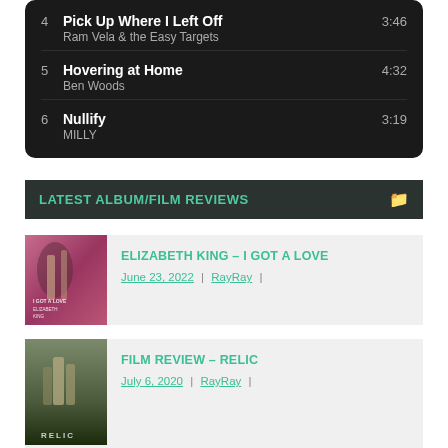| # | Title / Artist | Duration |
| --- | --- | --- |
| 4 | Pick Up Where I Left Off
Ram Vela & the Easy Targets | 3:46 |
| 5 | Hovering at Home
Ben Woods | 4:32 |
| 6 | Nullify
MILLY | 3:19 |
LATEST ALBUM/FILM REVIEWS
ELIZABETH KING – I GOT A LOVE
June 23, 2022 | RayRay |
FILM REVIEW – RELIC
July 6, 2020 | RayRay |